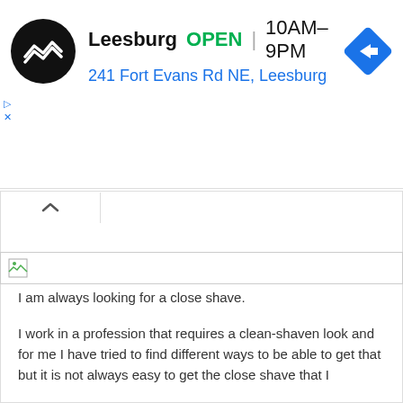[Figure (screenshot): Advertisement banner for a store called Leesburg with a black circular logo, showing OPEN status, hours 10AM-9PM, address 241 Fort Evans Rd NE Leesburg, and a blue directions diamond icon]
I am always looking for a close shave.
I work in a profession that requires a clean-shaven look and for me I have tried to find different ways to be able to get that but it is not always easy to get the close shave that I